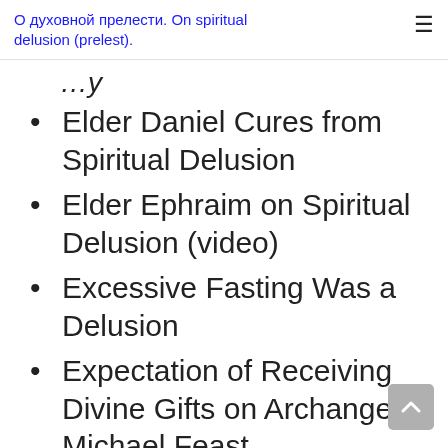О духовной прелести. On spiritual delusion (prelest).
Elder Daniel Cures from Spiritual Delusion
Elder Ephraim on Spiritual Delusion (video)
Excessive Fasting Was a Delusion
Expectation of Receiving Divine Gifts on Archangel Michael Feast
False Angel Tried to Deceive Saint Pachomius